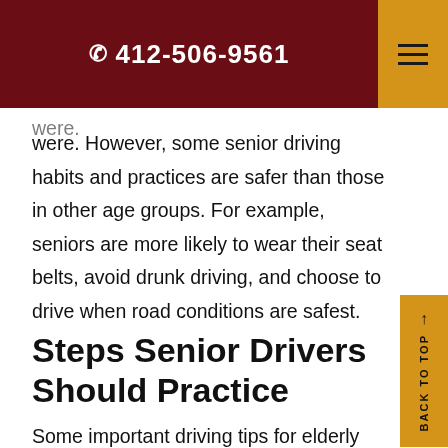☎ 412-506-9561
were. However, some senior driving habits and practices are safer than those in other age groups. For example, seniors are more likely to wear their seat belts, avoid drunk driving, and choose to drive when road conditions are safest.
Steps Senior Drivers Should Practice
Some important driving tips for elderly citizens